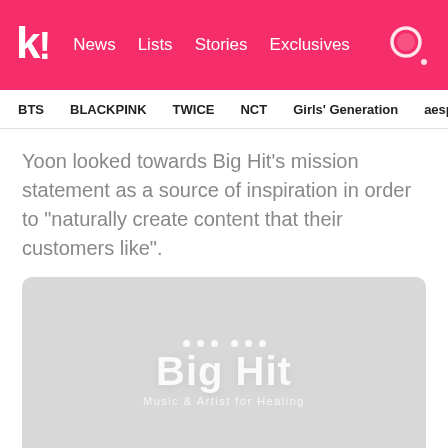k! News  Lists  Stories  Exclusives
BTS  BLACKPINK  TWICE  NCT  Girls' Generation  aespa
Yoon looked towards Big Hit’s mission statement as a source of inspiration in order to “naturally create content that their customers like”.
[Figure (logo): Big Hit Music & Artist for Healing logo on a light grey background]